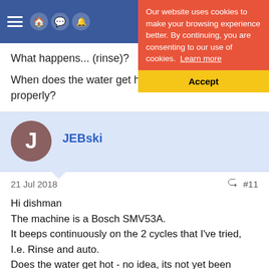Navigation bar with hamburger menu and icons
Our website uses cookies to make your browsing experience better. By continuing, you are consenting to our use of cookies. Learn more
Accept
What happens... (rinse)?
When does the water get hot? Is it draining properly?
JEBski
21 Jul 2018
#11
Hi dishman
The machine is a Bosch SMV53A.
It beeps continuously on the 2 cycles that I've tried, I.e. Rinse and auto.
Does the water get hot - no idea, its not yet been properly tested yet. I ran the rinse cycle to check the original error code [E15] had cleared.
The good news is that its draining properly, the original error